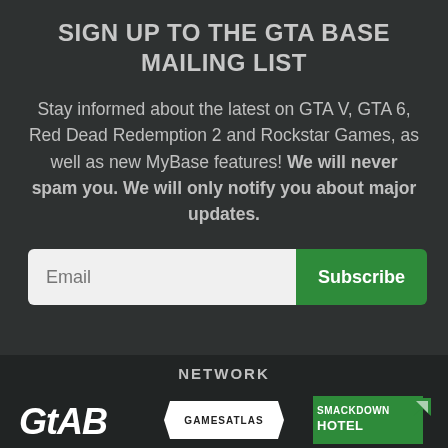SIGN UP TO THE GTA BASE MAILING LIST
Stay informed about the latest on GTA V, GTA 6, Red Dead Redemption 2 and Rockstar Games, as well as new MyBase features! We will never spam you. We will only notify you about major updates.
NETWORK
[Figure (logo): Three logos: GTA Base (GTAB), GamesAtlas, and SmackdownHotel]